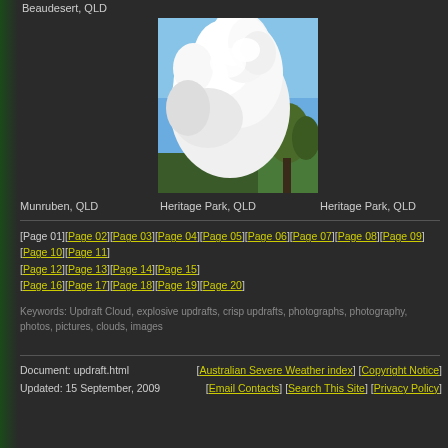Beaudesert, QLD
[Figure (photo): Photograph of a large white cumulonimbus updraft cloud against a blue sky with trees visible on the right side. Location: Heritage Park, QLD]
Munruben, QLD    Heritage Park, QLD    Heritage Park, QLD
[Page 01][Page 02][Page 03][Page 04][Page 05][Page 06][Page 07][Page 08][Page 09][Page 10][Page 11][Page 12][Page 13][Page 14][Page 15]
[Page 16][Page 17][Page 18][Page 19][Page 20]
Keywords: Updraft Cloud, explosive updrafts, crisp updrafts, photographs, photography, photos, pictures, clouds, images
Document: updraft.html    Updated: 15 September, 2009    [Australian Severe Weather index] [Copyright Notice] [Email Contacts] [Search This Site] [Privacy Policy]